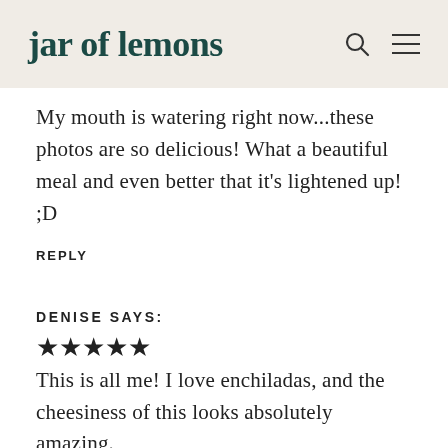jar of lemons
My mouth is watering right now...these photos are so delicious! What a beautiful meal and even better that it's lightened up! ;D
REPLY
DENISE SAYS:
★★★★★
This is all me! I love enchiladas, and the cheesiness of this looks absolutely amazing.
REPLY